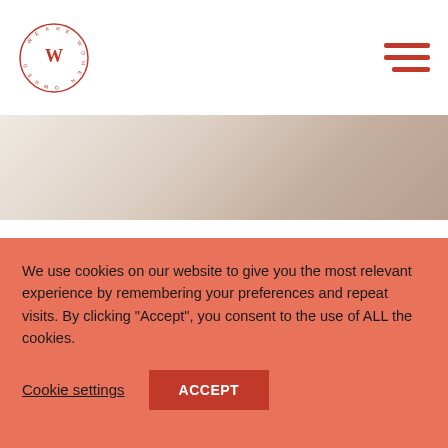We Are Women Owned — navigation logo and menu
[Figure (photo): Hero image — partial photograph of summer items, warm tones]
Discover Women-Owned
Everything You Need for Your Summer Vacation, Staycation, or Anything in Between — From 8 Women-Owned Brands
By Lisa Nicole Rosado – July 31, 2022
We use cookies on our website to give you the most relevant experience by remembering your preferences and repeat visits. By clicking "Accept", you consent to the use of ALL the cookies.
Cookie settings   ACCEPT